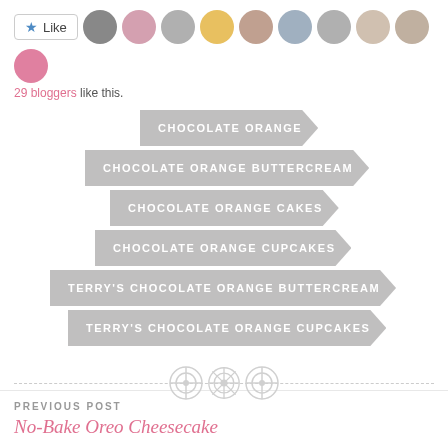[Figure (other): Like button and blogger avatars row showing '29 bloggers like this']
29 bloggers like this.
CHOCOLATE ORANGE
CHOCOLATE ORANGE BUTTERCREAM
CHOCOLATE ORANGE CAKES
CHOCOLATE ORANGE CUPCAKES
TERRY'S CHOCOLATE ORANGE BUTTERCREAM
TERRY'S CHOCOLATE ORANGE CUPCAKES
[Figure (other): Decorative button/divider icons row with dashed line]
PREVIOUS POST
No-Bake Oreo Cheesecake